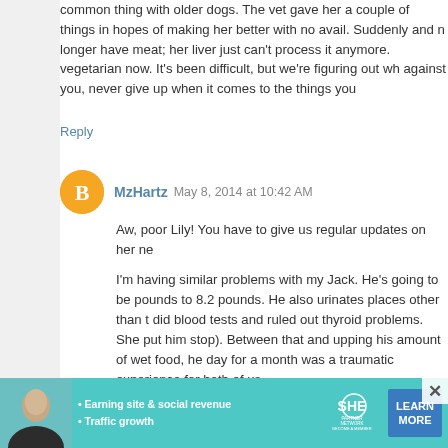common thing with older dogs. The vet gave her a couple of things in hopes of making her better with no avail. Suddenly and no longer have meat; her liver just can't process it anymore. vegetarian now. It's been difficult, but we're figuring out wh against you, never give up when it comes to the things you
Reply
MzHartz  May 8, 2014 at 10:42 AM
Aw, poor Lily! You have to give us regular updates on her ne
I'm having similar problems with my Jack. He's going to be pounds to 8.2 pounds. He also urinates places other than t did blood tests and ruled out thyroid problems. She put him stop). Between that and upping his amount of wet food, he day for a month was a traumatic experience for both of us.
I'm going to try out that Bach Rescue Remedy for pets and
Reply
Onib  May 8, 2014 at 11:00 AM
I'm so sorry to hear about this. I know you've gotte thought I'd mention one more thing in case you hadn
[Figure (advertisement): SHE Partner Network advertisement banner with teal background, woman photo, bullet points about earning site & social revenue and traffic growth, SHE logo, and Learn More button]